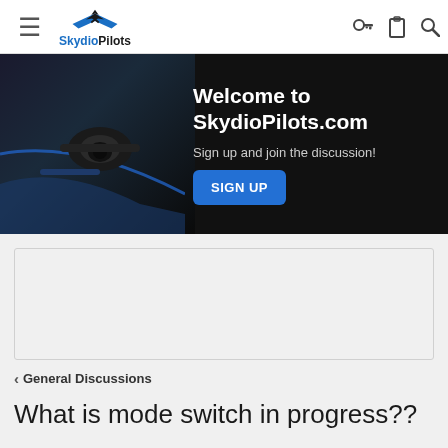SkydioPilots
[Figure (screenshot): SkydioPilots.com welcome banner with drone image on dark background. Text reads: Welcome to SkydioPilots.com / Sign up and join the discussion! / SIGN UP button.]
[Figure (other): Advertisement placeholder box (grey rectangle)]
< General Discussions
What is mode switch in progress??